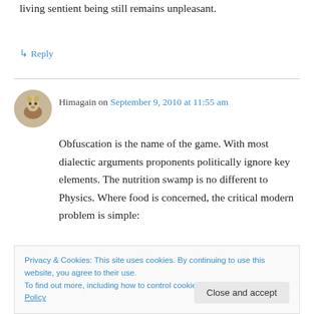living sentient being still remains unpleasant.
↳ Reply
Himagain on September 9, 2010 at 11:55 am
Obfuscation is the name of the game. With most dialectic arguments proponents politically ignore key elements. The nutrition swamp is no different to Physics. Where food is concerned, the critical modern problem is simple:
Privacy & Cookies: This site uses cookies. By continuing to use this website, you agree to their use.
To find out more, including how to control cookies, see here: Cookie Policy
Close and accept
is naturally nutritive. Almost impossible with long